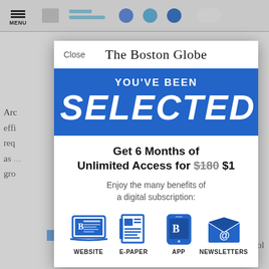[Figure (screenshot): Boston Globe subscription modal overlay on a news article page. Shows 'The Boston Globe' masthead, a blue 'YOU'VE BEEN SELECTED' banner, a subscription offer for 6 months unlimited access for $1 (originally $180), and four benefit icons: Website, E-Paper, App, Newsletters.]
The Boston Globe
YOU'VE BEEN
SELECTED
Get 6 Months of Unlimited Access for $180 $1
Enjoy the many benefits of a digital subscription:
WEBSITE
E-PAPER
APP
NEWSLETTERS